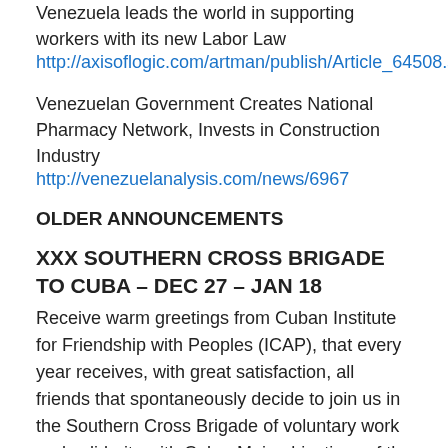Venezuela leads the world in supporting workers with its new Labor Law
http://axisoflogic.com/artman/publish/Article_64508.shtml
Venezuelan Government Creates National Pharmacy Network, Invests in Construction Industry
http://venezuelanalysis.com/news/6967
OLDER ANNOUNCEMENTS
XXX SOUTHERN CROSS BRIGADE TO CUBA – DEC 27 – JAN 18
Receive warm greetings from Cuban Institute for Friendship with Peoples (ICAP), that every year receives, with great satisfaction, all friends that spontaneously decide to join us in the Southern Cross Brigade of voluntary work and solidarity with Cuba. Main objectives of the brigade are to provide a great deal of knowledge about